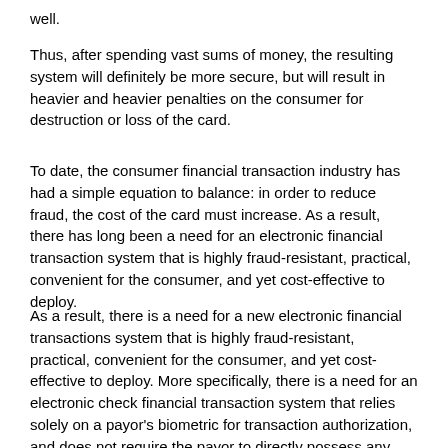well.
Thus, after spending vast sums of money, the resulting system will definitely be more secure, but will result in heavier and heavier penalties on the consumer for destruction or loss of the card.
To date, the consumer financial transaction industry has had a simple equation to balance: in order to reduce fraud, the cost of the card must increase. As a result, there has long been a need for an electronic financial transaction system that is highly fraud-resistant, practical, convenient for the consumer, and yet cost-effective to deploy.
As a result, there is a need for a new electronic financial transactions system that is highly fraud-resistant, practical, convenient for the consumer, and yet cost-effective to deploy. More specifically, there is a need for an electronic check financial transaction system that relies solely on a payor's biometric for transaction authorization, and does not require the payor to directly possess any personalized man-made memory tokens such as smart cards, magnetic swipe cards, encoded paper checks or